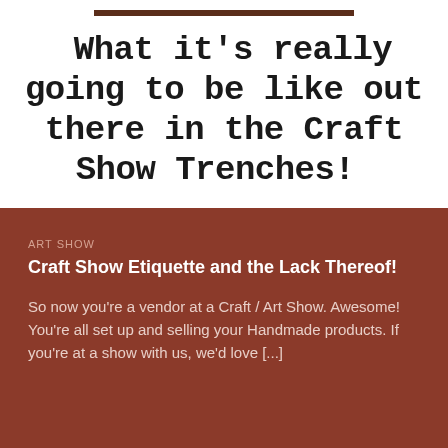What it's really going to be like out there in the Craft Show Trenches!
ART SHOW
Craft Show Etiquette and the Lack Thereof!
So now you're a vendor at a Craft / Art Show. Awesome! You're all set up and selling your Handmade products. If you're at a show with us, we'd love [...]